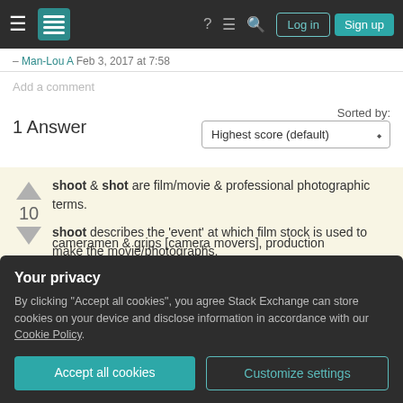Stack Exchange navigation bar with Log in and Sign up buttons
– Man-Lou A Feb 3, 2017 at 7:58
Add a comment
Sorted by:
1 Answer
shoot & shot are film/movie & professional photographic terms.
shoot describes the 'event' at which film stock is used to make the movie/photographs.
Your privacy
By clicking "Accept all cookies", you agree Stack Exchange can store cookies on your device and disclose information in accordance with our Cookie Policy.
cameramen & grips [camera movers], production